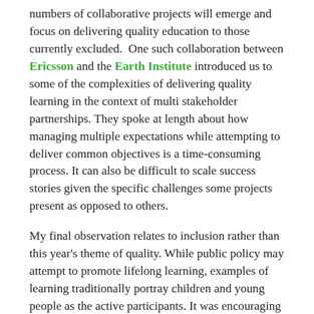numbers of collaborative projects will emerge and focus on delivering quality education to those currently excluded.  One such collaboration between Ericsson and the Earth Institute introduced us to some of the complexities of delivering quality learning in the context of multi stakeholder partnerships. They spoke at length about how managing multiple expectations while attempting to deliver common objectives is a time-consuming process. It can also be difficult to scale success stories given the specific challenges some projects present as opposed to others.
My final observation relates to inclusion rather than this year's theme of quality. While public policy may attempt to promote lifelong learning, examples of learning traditionally portray children and young people as the active participants. It was encouraging to see Mrs Valerie Wood-Gaiger (MBE) #learnwithgrandmum talk passionately about the high levels of motivation expressed by older people to learn about technology. She offered practical insights into the benefits of intergenerational learning and encouraged us to reflect on some of the challenges pertinent to this cohort. In an era